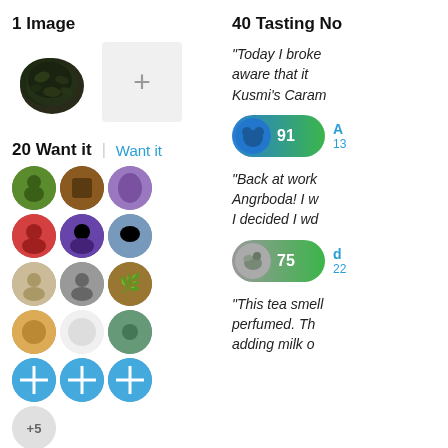1 Image
[Figure (photo): Circular pile of dark green loose leaf tea]
20 Want it | Want it
[Figure (photo): Grid of 16 user avatar circles for Want it section, with +5 more indicator]
32 Own it | Own it
[Figure (photo): Grid of 16 user avatar circles for Own it section, with +17 more indicator]
40 Tasting No
“Today I broke aware that it Kusmi’s Caram
[Figure (photo): Reviewer badge with avatar, score 91, name initial A, count 13]
“Back at work Angrboda! I w I decided I wd
[Figure (photo): Reviewer badge with bird avatar, score 75, name initial d, count 22]
“This tea smell perfumed. Th adding milk o